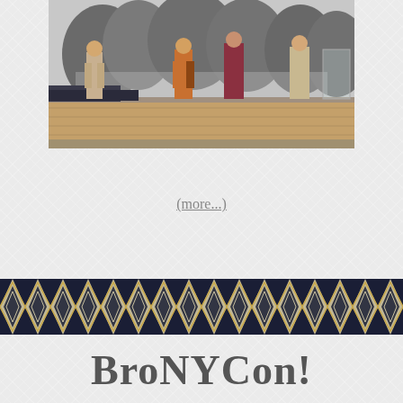[Figure (photo): Museum or gallery exhibition photo showing mannequins or figures dressed in colorful clothing displayed on a raised wooden platform against a black and white photographic backdrop of trees and foliage.]
(more...)
[Figure (illustration): Decorative horizontal band with a repeating chevron/herringbone geometric pattern in dark navy blue, cream/beige, and gold colors.]
BroNYCon!